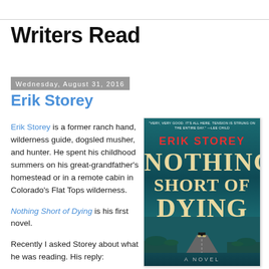Writers Read
Wednesday, August 31, 2016
Erik Storey
Erik Storey is a former ranch hand, wilderness guide, dogsled musher, and hunter. He spent his childhood summers on his great-grandfather's homestead or in a remote cabin in Colorado's Flat Tops wilderness.
Nothing Short of Dying is his first novel.
Recently I asked Storey about what he was reading. His reply:
[Figure (photo): Book cover of 'Nothing Short of Dying' by Erik Storey. Teal/dark teal background with large cream/gold text title. Author name in red at top. Small blurb quote at top. 'A Novel' text at bottom.]